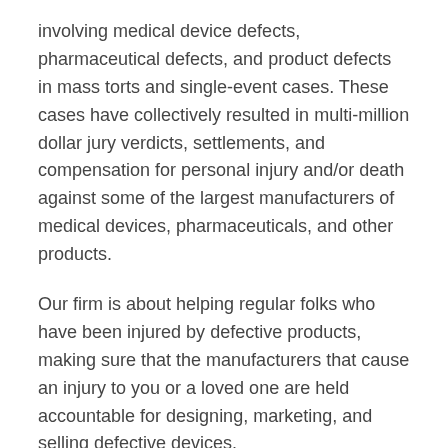involving medical device defects, pharmaceutical defects, and product defects in mass torts and single-event cases. These cases have collectively resulted in multi-million dollar jury verdicts, settlements, and compensation for personal injury and/or death against some of the largest manufacturers of medical devices, pharmaceuticals, and other products.
Our firm is about helping regular folks who have been injured by defective products, making sure that the manufacturers that cause an injury to you or a loved one are held accountable for designing, marketing, and selling defective devices.
Contact The Cochran Firm today for a free, no-obligation initial consultation. Our lawyers